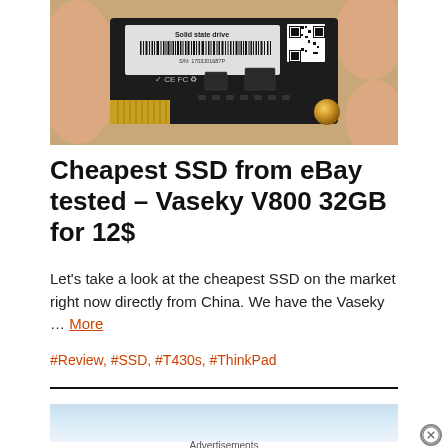[Figure (photo): Close-up photo of a Vaseky V800 32GB M.2 solid state drive being held between fingers, showing the label with barcode and QR code on black PCB with gold connector pins]
Cheapest SSD from eBay tested – Vaseky V800 32GB for 12$
Let's take a look at the cheapest SSD on the market right now directly from China. We have the Vaseky … More
#Review, #SSD, #T430s, #ThinkPad
[Figure (other): Advertisement banner with light blue/sky background]
Advertisements